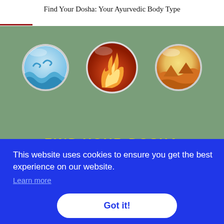Find Your Dosha: Your Ayurvedic Body Type
[Figure (illustration): Three circular icons on a green background: left circle shows water/waves (blue, Vata), center circle shows fire/flames (red-orange, Pitta), right circle shows earth/landscape (orange-yellow, Kapha). Below the circles, partially visible yellow text reads 'FIND YOUR DOSHA'.]
This website uses cookies to ensure you get the best experience on our website.
Learn more
Got it!